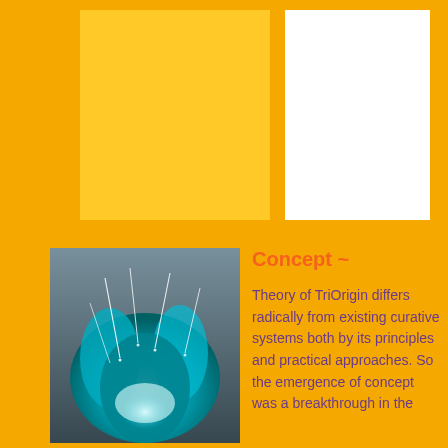[Figure (illustration): Decorative geometric shapes: a yellow rectangle and a white rectangle with a yellow vertical bar, on a golden/amber background — likely part of a book/document cover design.]
[Figure (photo): Close-up image of acupuncture needles inserted into teal/cyan-colored glowing hands or fingers, with a blue-grey background.]
Concept ~
Theory of TriOrigin differs radically from existing curative systems both by its principles and practical approaches. So the emergence of concept was a breakthrough in the